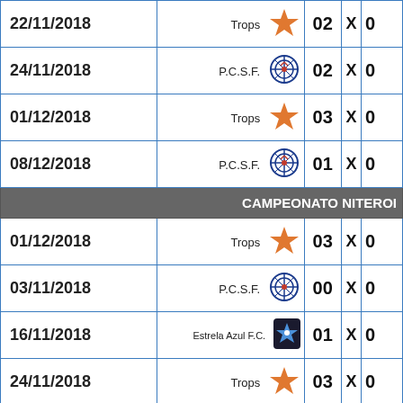| Date | Team | Score1 | X | Score2 |
| --- | --- | --- | --- | --- |
| 22/11/2018 | Trops | 02 | X | 0... |
| 24/11/2018 | P.C.S.F. | 02 | X | 0... |
| 01/12/2018 | Trops | 03 | X | 0... |
| 08/12/2018 | P.C.S.F. | 01 | X | 0... |
CAMPEONATO NITEROI
| Date | Team | Score1 | X | Score2 |
| --- | --- | --- | --- | --- |
| 01/12/2018 | Trops | 03 | X | 0... |
| 03/11/2018 | P.C.S.F. | 00 | X | 0... |
| 16/11/2018 | Estrela Azul F.C. | 01 | X | 0... |
| 24/11/2018 | Trops | 03 | X | 0... |
| 08/12/2018 | Trops | 04 | X | 0... |